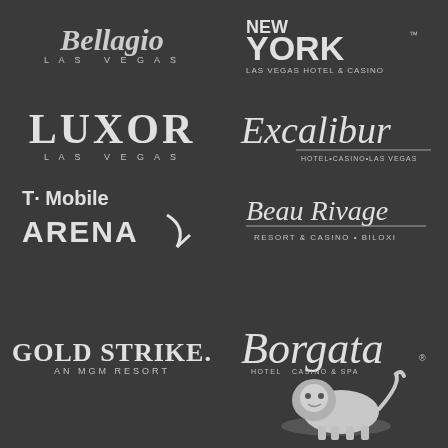[Figure (logo): Bellagio Las Vegas logo (partially cut off at top)]
[Figure (logo): New York-New York Las Vegas Hotel & Casino logo]
[Figure (logo): Luxor Las Vegas logo]
[Figure (logo): Excalibur Hotel Casino Las Vegas logo]
[Figure (logo): T-Mobile Arena logo]
[Figure (logo): Beau Rivage Resort & Casino Biloxi logo]
[Figure (logo): Gold Strike An MGM Resort logo]
[Figure (logo): Borgata Hotel Casino & Spa logo]
[Figure (logo): MGM lion logo (partially cut off at bottom)]